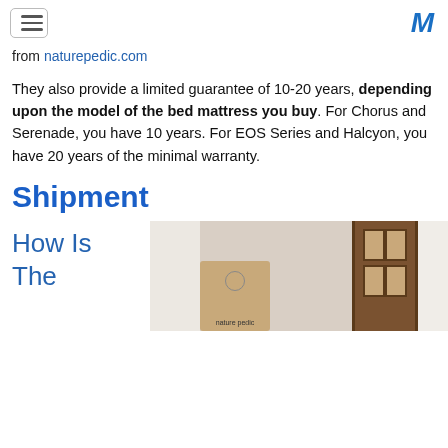[hamburger menu icon] [M logo]
from naturepedic.com
They also provide a limited guarantee of 10-20 years, depending upon the model of the bed mattress you buy. For Chorus and Serenade, you have 10 years. For EOS Series and Halcyon, you have 20 years of the minimal warranty.
Shipment
How Is The
[Figure (photo): Photo of a rolled/boxed Naturepedic mattress package in front of a wooden door entryway]